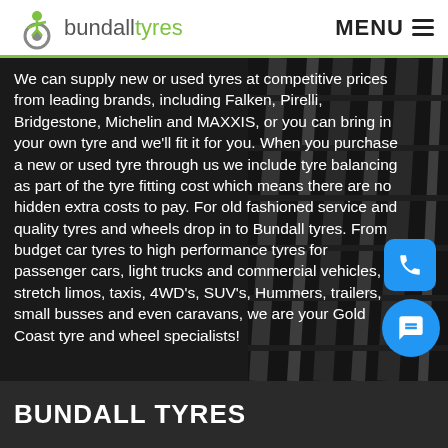bundalltyres — MENU
We can supply new or used tyres at competitive prices from leading brands, including Falken, Pirelli, Bridgestone, Michelin and MAXXIS, or you can bring in your own tyre and we'll fit it for you. When you purchase a new or used tyre through us we include tyre balancing as part of the tyre fitting cost which means there are no hidden extra costs to pay. For old fashioned service and quality tyres and wheels drop in to Bundall tyres. From budget car tyres to high performance tyres for passenger cars, light trucks and commercial vehicles, stretch limos, taxis, 4WD's, SUV's, Hummers, trailers, small busses and even caravans, we are your Gold Coast tyre and wheel specialists!
BUNDALL TYRES